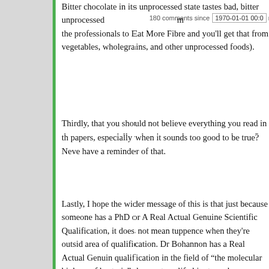Bitter chocolate in its unprocessed state tastes bad, bitter unprocessed ... the professionals to Eat More Fibre and you'll get that from vegetables, wholegrains, and other unprocessed foods).
Thirdly, that you should not believe everything you read in the papers, especially when it sounds too good to be true? Never have a reminder of that.
Lastly, I hope the wider message of this is that just because someone has a PhD or A Real Actual Genuine Scientific Qualification, it does not mean tuppence when they're outside area of qualification. Dr Bohannon has a Real Actual Genuine qualification in the field of “the molecular biology of bacteria” does not qualify him to make statements on anything but the molecular biology of bacteria; Scott points out that he seems unaware or dismissive of the studies done about dark choco he doesn’t seem to have considered that maybe the weight not down to “dark chocolate makes you lose weight” but “let